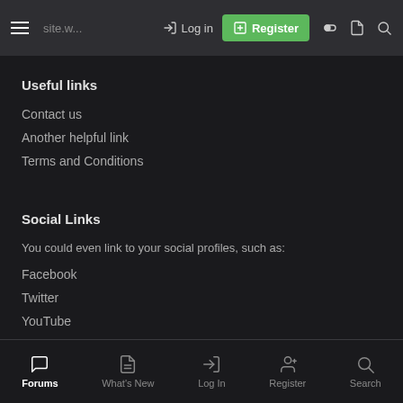Log in | Register
Useful links
Contact us
Another helpful link
Terms and Conditions
Social Links
You could even link to your social profiles, such as:
Facebook
Twitter
YouTube
Forums | What's New | Log In | Register | Search